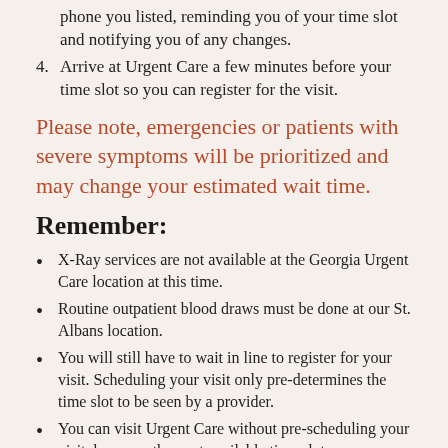phone you listed, reminding you of your time slot and notifying you of any changes.
4. Arrive at Urgent Care a few minutes before your time slot so you can register for the visit.
Please note, emergencies or patients with severe symptoms will be prioritized and may change your estimated wait time.
Remember:
X-Ray services are not available at the Georgia Urgent Care location at this time.
Routine outpatient blood draws must be done at our St. Albans location.
You will still have to wait in line to register for your visit. Scheduling your visit only pre-determines the time slot to be seen by a provider.
You can visit Urgent Care without pre-scheduling your visit, however the next available time slot...